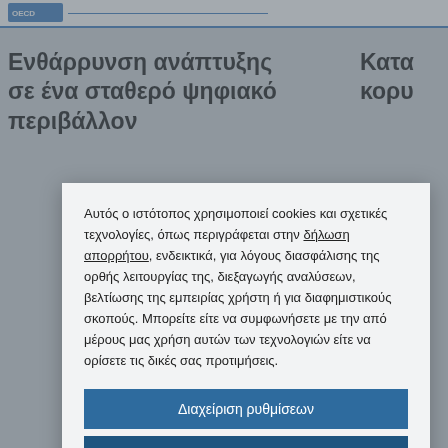Ενθάρρυνση ανάπτυξης σε ένα σταθερό ψηφιακό περιβάλλον
Αυτός ο ιστότοπος χρησιμοποιεί cookies και σχετικές τεχνολογίες, όπως περιγράφεται στην δήλωση απορρήτου, ενδεικτικά, για λόγους διασφάλισης της ορθής λειτουργίας της, διεξαγωγής αναλύσεων, βελτίωσης της εμπειρίας χρήστη ή για διαφημιστικούς σκοπούς. Μπορείτε είτε να συμφωνήσετε με την από μέρους μας χρήση αυτών των τεχνολογιών είτε να ορίσετε τις δικές σας προτιμήσεις.
Διαχείριση ρυθμίσεων
Αποδοχή όλων
Απόρριψη όλων
Δήλωση για τα Cookies